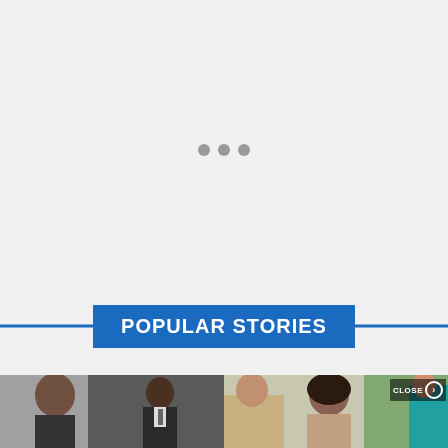[Figure (other): Loading spinner with three grey dots centered on a light grey background]
POPULAR STORIES
[Figure (photo): Two thumbnail photos side by side: left shows a dark-skinned man in formal attire, right shows a woman with dark hair with a green background scene and a CLOSE button overlay]